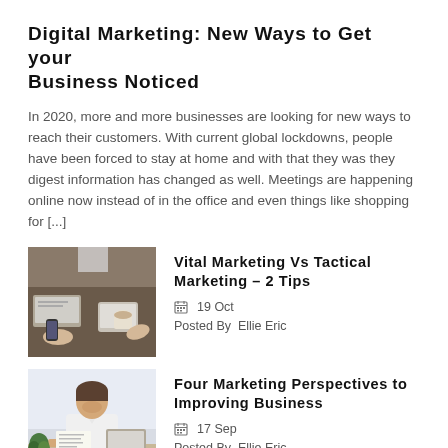Digital Marketing: New Ways to Get your Business Noticed
In 2020, more and more businesses are looking for new ways to reach their customers. With current global lockdowns, people have been forced to stay at home and with that they was they digest information has changed as well. Meetings are happening online now instead of in the office and even things like shopping for [...]
[Figure (photo): Photo of people at a meeting table with laptops, tablets, and coffee cups, viewed from above]
Vital Marketing Vs Tactical Marketing – 2 Tips
19 Oct
Posted By  Ellie Eric
[Figure (photo): Photo of a man in a white shirt sitting at a desk reviewing documents]
Four Marketing Perspectives to Improving Business
17 Sep
Posted By  Ellie Eric